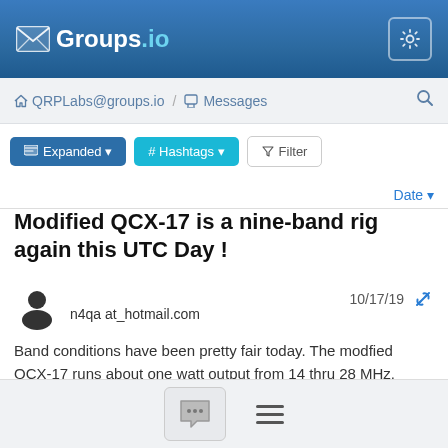Groups.io
QRPLabs@groups.io / Messages
Expanded  # Hashtags  Filter
Date
Modified QCX-17 is a nine-band rig again this UTC Day !
n4qa at_hotmail.com  10/17/19
Band conditions have been pretty fair today. The modfied QCX-17 runs about one watt output from 14 thru 28 MHz. From 10.1